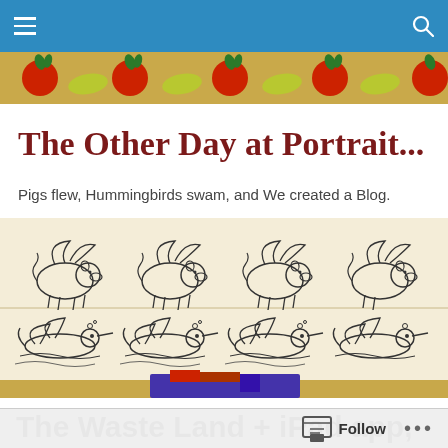Navigation bar with menu and search icons
[Figure (illustration): Decorative banner strip with red apples/tomatoes and green leaves on a golden background]
The Other Day at Portrait...
Pigs flew, Hummingbirds swam, and We created a Blog.
[Figure (illustration): Two rows of sketched animals on cream background: top row shows four flying pigs (line drawings), bottom row shows four swimming hummingbirds (line drawings). Below is a partial photo of a person in colorful clothing.]
The Waste Land + iPad app, and other words you never imagined in the same...
Follow ...